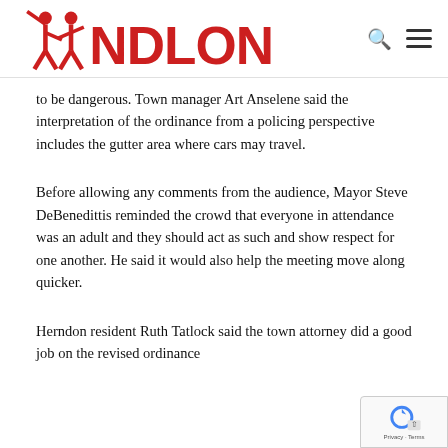NDLON
to be dangerous. Town manager Art Anselene said the interpretation of the ordinance from a policing perspective includes the gutter area where cars may travel.
Before allowing any comments from the audience, Mayor Steve DeBenedittis reminded the crowd that everyone in attendance was an adult and they should act as such and show respect for one another. He said it would also help the meeting move along quicker.
Herndon resident Ruth Tatlock said the town attorney did a good job on the revised ordinance